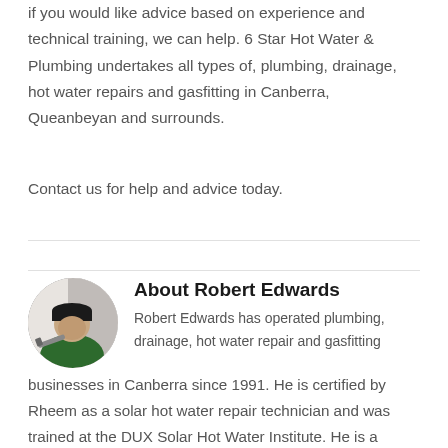if you would like advice based on experience and technical training, we can help. 6 Star Hot Water & Plumbing undertakes all types of, plumbing, drainage, hot water repairs and gasfitting in Canberra, Queanbeyan and surrounds.
Contact us for help and advice today.
About Robert Edwards
[Figure (photo): Circular portrait photo of Robert Edwards, a man wearing a dark green shirt, holding plumbing tools]
Robert Edwards has operated plumbing, drainage, hot water repair and gasfitting businesses in Canberra since 1991. He is certified by Rheem as a solar hot water repair technician and was trained at the DUX Solar Hot Water Institute. He is a licenced plumber, gasfitter and electrician, and has